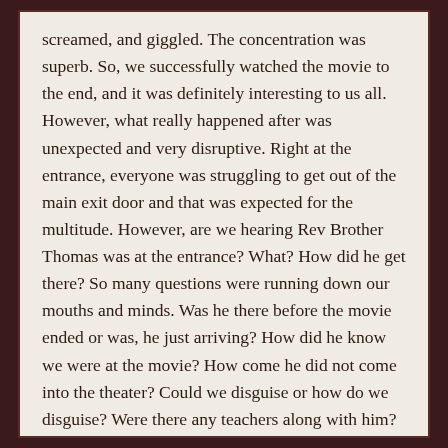screamed, and giggled. The concentration was superb. So, we successfully watched the movie to the end, and it was definitely interesting to us all. However, what really happened after was unexpected and very disruptive. Right at the entrance, everyone was struggling to get out of the main exit door and that was expected for the multitude. However, are we hearing Rev Brother Thomas was at the entrance? What? How did he get there? So many questions were running down our mouths and minds. Was he there before the movie ended or was, he just arriving? How did he know we were at the movie? How come he did not come into the theater? Could we disguise or how do we disguise? Were there any teachers along with him? Nobody could tell but … Look, that is not important now. The only thing that is most